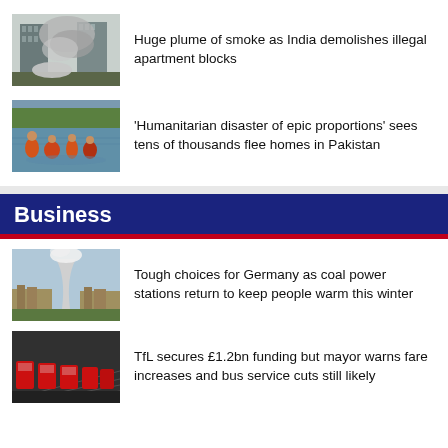[Figure (photo): Demolished high-rise apartment buildings with smoke plume]
Huge plume of smoke as India demolishes illegal apartment blocks
[Figure (photo): People wading through floodwaters in Pakistan]
'Humanitarian disaster of epic proportions' sees tens of thousands flee homes in Pakistan
Business
[Figure (photo): Aerial view of a German town with a coal power station cooling tower]
Tough choices for Germany as coal power stations return to keep people warm this winter
[Figure (photo): TfL red buses in a depot yard]
TfL secures £1.2bn funding but mayor warns fare increases and bus service cuts still likely